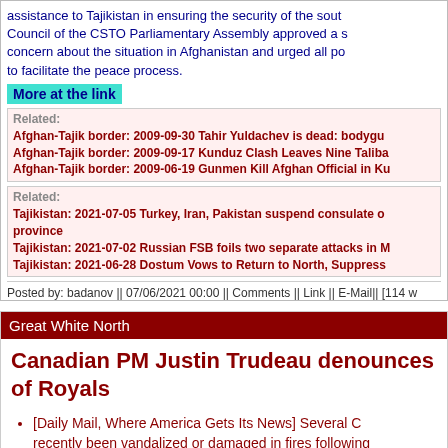assistance to Tajikistan in ensuring the security of the south... Council of the CSTO Parliamentary Assembly approved a s... concern about the situation in Afghanistan and urged all po... to facilitate the peace process.
More at the link
Related:
Afghan-Tajik border: 2009-09-30 Tahir Yuldachev is dead: bodygu...
Afghan-Tajik border: 2009-09-17 Kunduz Clash Leaves Nine Taliba...
Afghan-Tajik border: 2009-06-19 Gunmen Kill Afghan Official in Ku...
Related:
Tajikistan: 2021-07-05 Turkey, Iran, Pakistan suspend consulate o... province
Tajikistan: 2021-07-02 Russian FSB foils two separate attacks in M...
Tajikistan: 2021-06-28 Dostum Vows to Return to North, Suppress...
Posted by: badanov || 07/06/2021 00:00 || Comments || Link || E-Mail|| [114 w...
Great White North
Canadian PM Justin Trudeau denounces... of Royals
[Daily Mail, Where America Gets Its News] Several C... recently been vandalized or damaged in fires following... 1,100 unmarked graves